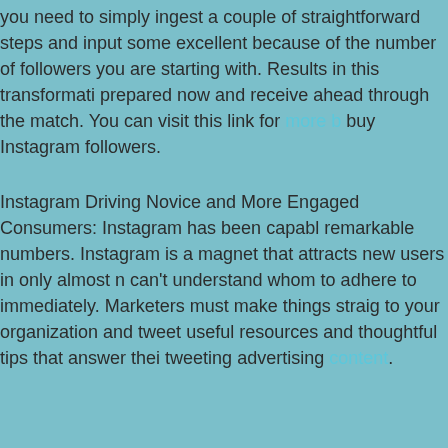you need to simply ingest a couple of straightforward steps and input some excellent because of the number of followers you are starting with. Results in this transformation prepared now and receive ahead through the match. You can visit this link for more buy Instagram followers.
Instagram Driving Novice and More Engaged Consumers: Instagram has been capable remarkable numbers. Instagram is a magnet that attracts new users in only almost no can't understand whom to adhere to immediately. Marketers must make things straight to your organization and tweet useful resources and thoughtful tips that answer their tweeting advertising content.